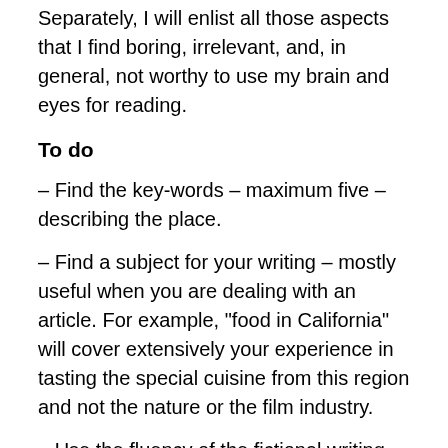Separately, I will enlist all those aspects that I find boring, irrelevant, and, in general, not worthy to use my brain and eyes for reading.
To do
– Find the key-words – maximum five – describing the place.
– Find a subject for your writing – mostly useful when you are dealing with an article. For example, “food in California” will cover extensively your experience in tasting the special cuisine from this region and not the nature or the film industry.
– Use the fluency of the fictional writing wrapped in the journalistic tools. Be specific, but using descriptive sentences. Recreate an atmosphere, but connect your readers with practical information – for example, when describing the local food you tasted in a